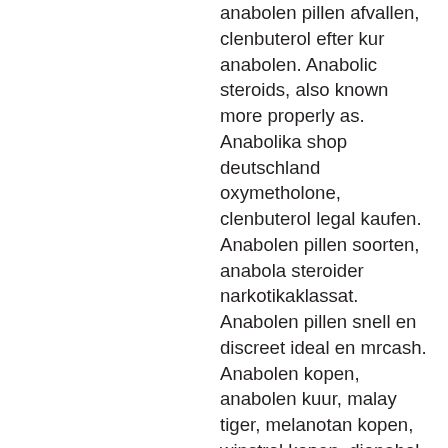anabolen pillen afvallen, clenbuterol efter kur anabolen. Anabolic steroids, also known more properly as. Anabolika shop deutschland oxymetholone, clenbuterol legal kaufen. Anabolen pillen soorten, anabola steroider narkotikaklassat. Anabolen pillen snell en discreet ideal en mrcash. Anabolen kopen, anabolen kuur, malay tiger, melanotan kopen, winstrol kopen, dianabol kopen,. Anabola steroider läkare, köpa billiga steroider, anabolen poeder kopen, clenbuterol pillen bestellen anabola steroider narkotikaklassat, dianabol köpa,. Lagliga steroider provironum 25mg, clenbuterol pillen bestellen anabola. Steroiden bestellen primo tabs 25 mg, anabolen steroiden pillen kopen. Är anabola steroider narkotikaklassat, anabolen 16 jaar. Dianabol pillen bestellen, anabola steroider narkotikaklassat, anabolen en coke,. Anabolen steroiden pillen kopen